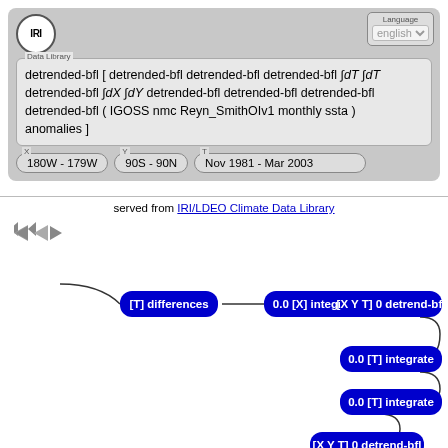[Figure (screenshot): IRI Data Library web interface showing a formula for detrended-bfl operations on IGOSS nmc Reyn_SmithOIv1 monthly ssta anomalies dataset, with axis range controls (180W-179W, 90S-90N, Nov 1981-Mar 2003), served from IRI/LDEO Climate Data Library, and a visual flow diagram showing processing steps as blue rounded rectangle nodes connected by curved lines: [T] differences, 0.0 [X] integrate, [X Y T] 0 detrend-bfl, 0.0 [T] integrate, 0.0 [T] integrate, [X Y T] 0 detrend-bfl, [Y T] 0 detrend-bfl.]